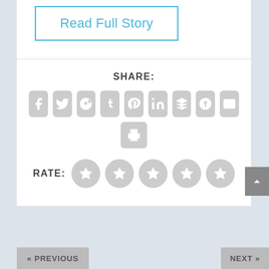Read Full Story
SHARE:
[Figure (infographic): Social share icons: Facebook, Twitter, Google+, Tumblr, Pinterest, LinkedIn, Buffer, StumbleUpon, Email, Print]
RATE:
[Figure (infographic): Five star rating circles, all grey/unrated]
« PREVIOUS
NEXT »